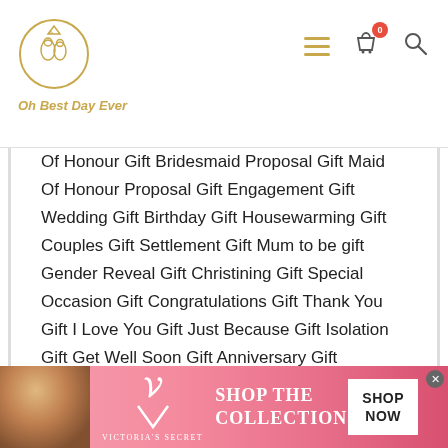[Figure (logo): Oh Best Day Ever website logo with circular emblem and golden text]
Of Honour Gift Bridesmaid Proposal Gift Maid Of Honour Proposal Gift Engagement Gift Wedding Gift Birthday Gift Housewarming Gift Couples Gift Settlement Gift Mum to be gift Gender Reveal Gift Christining Gift Special Occasion Gift Congratulations Gift Thank You Gift I Love You Gift Just Because Gift Isolation Gift Get Well Soon Gift Anniversary Gift Welcome Home Gift Name Day Gift Miss You Gift Sorry Your Leaving Gift Halloween Gift Christmas Gift New Years Gift Easter Gift Valentine's Day Gift Mothers Day Gift
[Figure (photo): Victoria's Secret advertisement banner with model photo, VS logo, SHOP THE COLLECTION text, and SHOP NOW button]